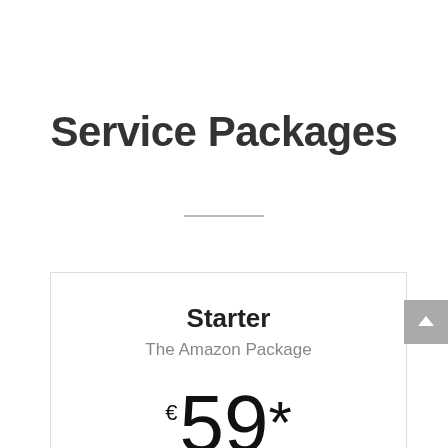Service Packages
Starter
The Amazon Package
€59*